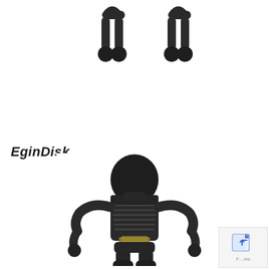[Figure (photo): Close-up of the bottom/feet of a black skeleton USB drive figure, showing two small rounded leg stumps with joint details against a white background]
EginDisk
[Figure (photo): Black skeleton-shaped USB flash drive figure (EginDisk brand) shown from the back, featuring a large round skull head, ribcage body details, arms raised to the sides, and visible gold USB connector at the midsection]
[Figure (screenshot): Small corner watermark/icon showing a blue document icon with upward arrows and partial text 'F...ms']